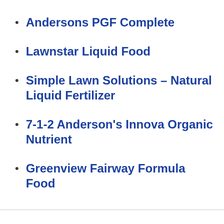Andersons PGF Complete
Lawnstar Liquid Food
Simple Lawn Solutions – Natural Liquid Fertilizer
7-1-2 Anderson's Innova Organic Nutrient
Greenview Fairway Formula Food